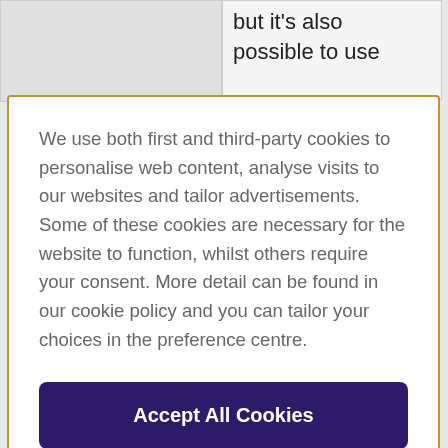but it's also possible to use
We use both first and third-party cookies to personalise web content, analyse visits to our websites and tailor advertisements. Some of these cookies are necessary for the website to function, whilst others require your consent. More detail can be found in our cookie policy and you can tailor your choices in the preference centre.
Accept All Cookies
Cookies Settings